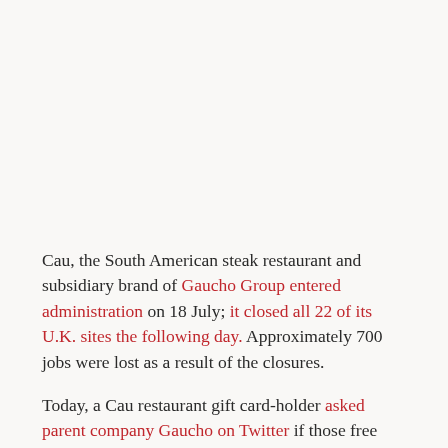Cau, the South American steak restaurant and subsidiary brand of Gaucho Group entered administration on 18 July; it closed all 22 of its U.K. sites the following day. Approximately 700 jobs were lost as a result of the closures.
Today, a Cau restaurant gift card-holder asked parent company Gaucho on Twitter if those free meals could be redeemed at the still-operating Gaucho restaurants. Gaucho